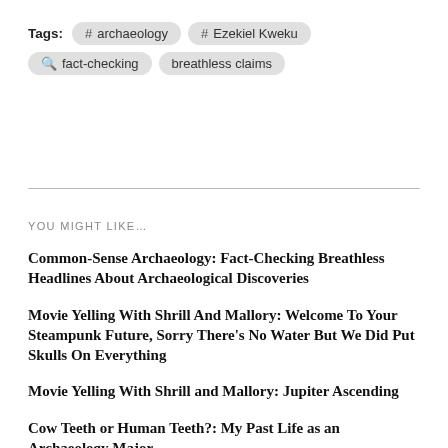Tags: # archaeology  # Ezekiel Kweku  🔍 fact-checking breathless claims
YOU MIGHT LIKE…
Common-Sense Archaeology: Fact-Checking Breathless Headlines About Archaeological Discoveries
Movie Yelling With Shrill And Mallory: Welcome To Your Steampunk Future, Sorry There's No Water But We Did Put Skulls On Everything
Movie Yelling With Shrill and Mallory: Jupiter Ascending
Cow Teeth or Human Teeth?: My Past Life as an Archaeology Major